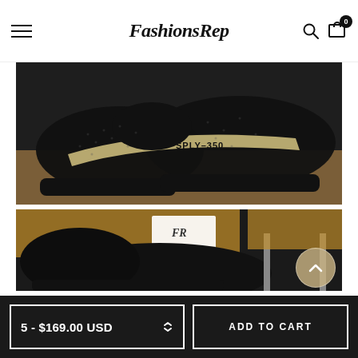FashionsRep
[Figure (photo): Close-up of black Adidas Yeezy Boost 350 V2 sneakers with green/gold SPLY-350 stripe on the side, placed on top of a brown cardboard box]
[Figure (photo): Second product photo of black Yeezy sneakers from a different angle, with a FashionsRep tag visible, placed on a wooden surface]
5 - $169.00 USD
ADD TO CART